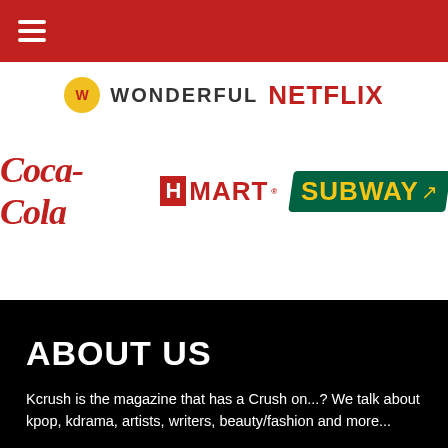[Figure (logo): Red navigation header bar with white hamburger menu icon (three horizontal lines)]
[Figure (logo): Top row of sponsor logos: Wonderful (yellow circle with script), WONDERFUL text in caps, NETFLIX in red bold caps]
[Figure (logo): Second row of sponsor logos: Coca-Cola in red italic script, H Mart with red box H and red MART text, Subway in yellow text on green background]
ABOUT US
Kcrush is the magazine that has a Crush on...? We talk about kpop, kdrama, artists, writers, beauty/fashion and more...